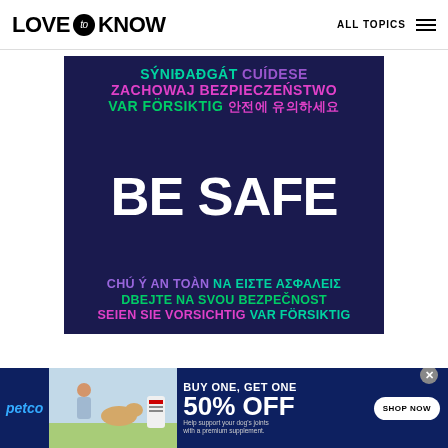LOVE to KNOW — ALL TOPICS
[Figure (infographic): Dark navy blue square graphic with multilingual 'Be Safe' messages in colorful text (cyan, pink, green, purple) in various languages including Icelandic, Polish, Swedish, Korean, Vietnamese, Greek, Czech, and German, with 'BE SAFE' in large white bold letters in the center.]
[Figure (infographic): Petco advertisement banner: BUY ONE, GET ONE 50% OFF on dog joint supplement. Shows a woman with a golden retriever and a supplement product. SHOP NOW button on right.]